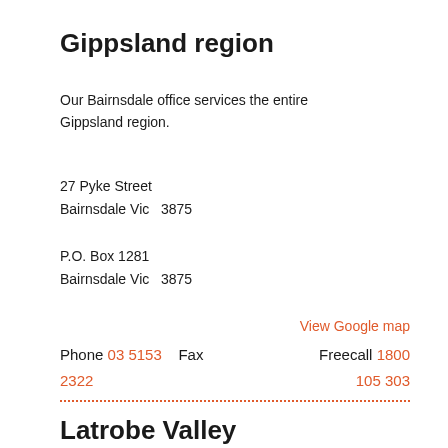Gippsland region
Our Bairnsdale office services the entire Gippsland region.
27 Pyke Street
Bairnsdale Vic  3875
P.O. Box 1281
Bairnsdale Vic  3875
View Google map
Phone 03 5153 2322    Fax    Freecall 1800 105 303
Latrobe Valley